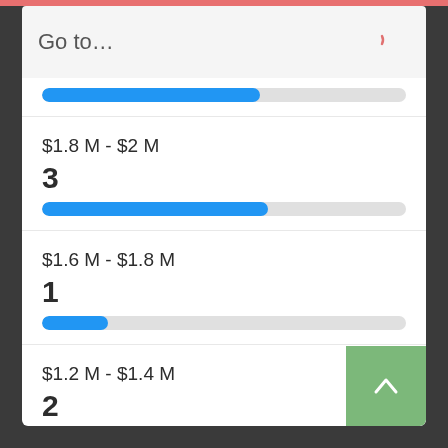Go to…
[Figure (bar-chart): Price range histogram]